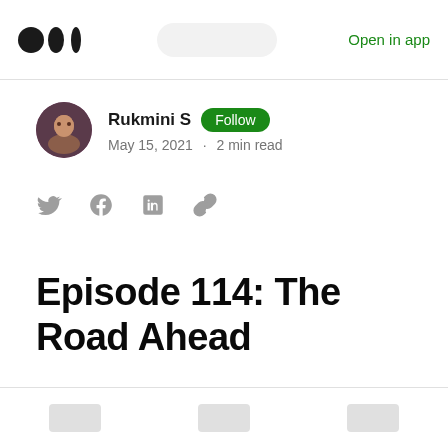Medium logo | Open in app
Rukmini S · Follow · May 15, 2021 · 2 min read
[Figure (other): Social sharing icons: Twitter, Facebook, LinkedIn, link]
Episode 114: The Road Ahead
Bottom navigation bar with three tab icons